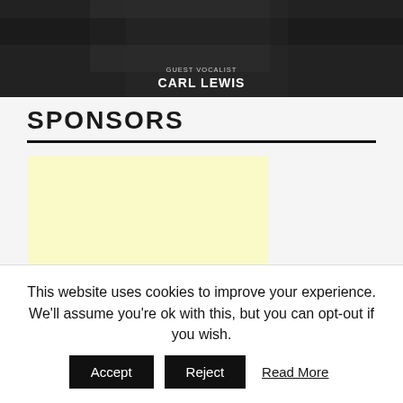[Figure (photo): Dark hero image with text overlay showing guest vocalist Carl Lewis]
SPONSORS
[Figure (other): Light yellow advertisement placeholder box]
This website uses cookies to improve your experience. We'll assume you're ok with this, but you can opt-out if you wish.
Accept | Reject | Read More